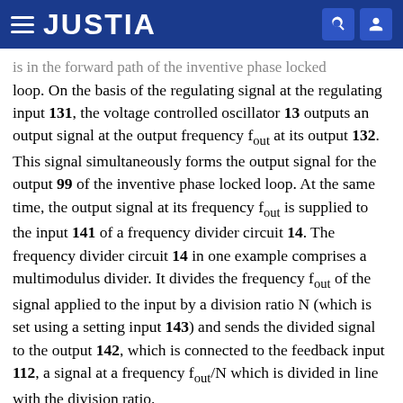JUSTIA
is in the forward path of the inventive phase locked loop. On the basis of the regulating signal at the regulating input 131, the voltage controlled oscillator 13 outputs an output signal at the output frequency f_out at its output 132. This signal simultaneously forms the output signal for the output 99 of the inventive phase locked loop. At the same time, the output signal at its frequency f_out is supplied to the input 141 of a frequency divider circuit 14. The frequency divider circuit 14 in one example comprises a multimodulus divider. It divides the frequency f_out of the signal applied to the input by a division ratio N (which is set using a setting input 143) and sends the divided signal to the output 142, which is connected to the feedback input 112, a signal at a frequency f_out/N which is divided in line with the division ratio.
To set the frequency division ratio of the frequency